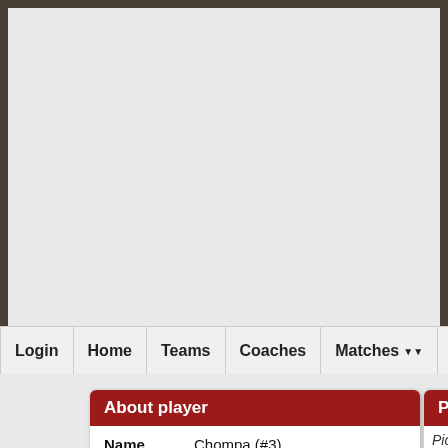Login | Home | Teams | Coaches | Matches | Statistics | Plugins
| Field | Value |
| --- | --- |
| Name | Chompa (#3) |
| Position | Looney |
| Team | Da Screamin' Squigz |
| Bought | 2013-11-07 18:17:02 |
| Status | None |
| Value | 60k |